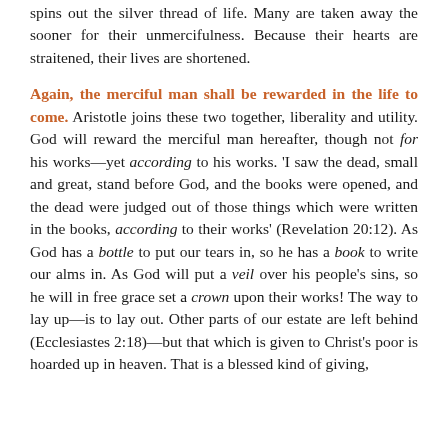spins out the silver thread of life. Many are taken away the sooner for their unmercifulness. Because their hearts are straitened, their lives are shortened.
Again, the merciful man shall be rewarded in the life to come. Aristotle joins these two together, liberality and utility. God will reward the merciful man hereafter, though not for his works—yet according to his works. 'I saw the dead, small and great, stand before God, and the books were opened, and the dead were judged out of those things which were written in the books, according to their works' (Revelation 20:12). As God has a bottle to put our tears in, so he has a book to write our alms in. As God will put a veil over his people's sins, so he will in free grace set a crown upon their works! The way to lay up—is to lay out. Other parts of our estate are left behind (Ecclesiastes 2:18)—but that which is given to Christ's poor is hoarded up in heaven. That is a blessed kind of giving, which the giver does the more light to it